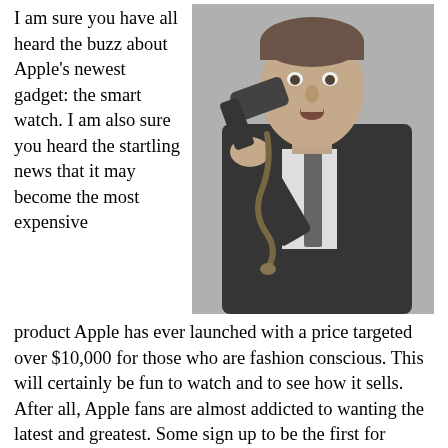I am sure you have all heard the buzz about Apple's newest gadget: the smart watch. I am also sure you heard the startling news that it may become the most expensive
[Figure (photo): Black and white vintage photo of a man in a suit holding up a shoe to his ear as if it were a telephone, with a snake dangling from the shoe. The man has a surprised or puzzled expression.]
product Apple has ever launched with a price targeted over $10,000 for those who are fashion conscious. This will certainly be fun to watch and to see how it sells. After all, Apple fans are almost addicted to wanting the latest and greatest. Some sign up to be the first for whatever Apple launches